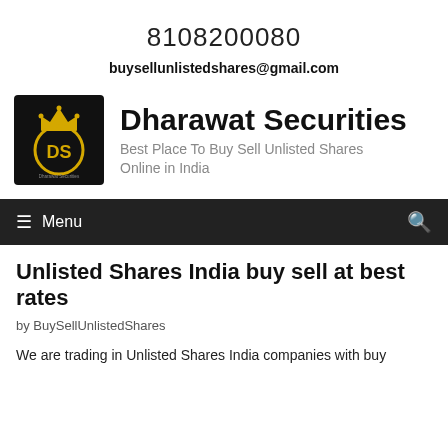8108200080
buysellunlistedshares@gmail.com
[Figure (logo): Dharawat Securities logo: black square with gold crown and gold circle containing letters DS]
Dharawat Securities
Best Place To Buy Sell Unlisted Shares Online in India
≡ Menu
Unlisted Shares India buy sell at best rates
by BuySellUnlistedShares
We are trading in Unlisted Shares India companies with buy